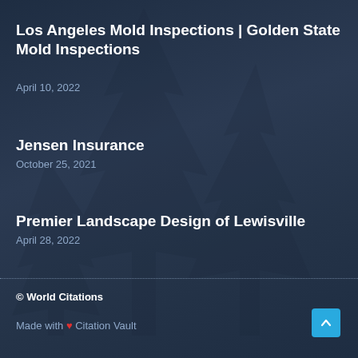Los Angeles Mold Inspections | Golden State Mold Inspections
April 10, 2022
Jensen Insurance
October 25, 2021
Premier Landscape Design of Lewisville
April 28, 2022
© World Citations
Made with ❤ Citation Vault